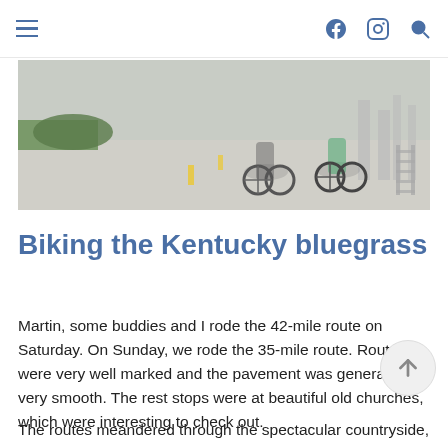Navigation bar with hamburger menu, Facebook icon, Instagram icon, search icon
[Figure (photo): Two cyclists riding bicycles on a paved road, shot from behind, with greenery and structures in the background.]
Biking the Kentucky bluegrass
Martin, some buddies and I rode the 42-mile route on Saturday. On Sunday, we rode the 35-mile route. Routes were very well marked and the pavement was generally very smooth. The rest stops were at beautiful old churches, which were interesting to check out.
The routes meandered through the spectacular countryside, with big